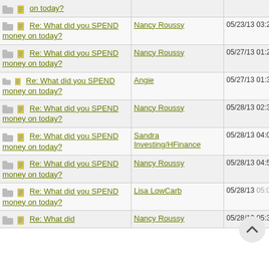| Title | Author | Date |
| --- | --- | --- |
| Re: What did you SPEND money on today? | Nancy Roussy | 05/23/13 03:20 PM |
| Re: What did you SPEND money on today? | Nancy Roussy | 05/27/13 01:24 PM |
| Re: What did you SPEND money on today? | Angie | 05/27/13 01:36 PM |
| Re: What did you SPEND money on today? | Nancy Roussy | 05/28/13 02:35 PM |
| Re: What did you SPEND money on today? | Sandra Investing/HFinance | 05/28/13 04:01 PM |
| Re: What did you SPEND money on today? | Nancy Roussy | 05/28/13 04:59 PM |
| Re: What did you SPEND money on today? | Lisa LowCarb | 05/28/13 05:08 PM |
| Re: What did | Nancy Roussy | 05/28/13 05:32 PM |